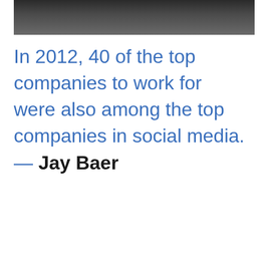[Figure (photo): Dark-toned photograph showing a person in athletic/sports context, cropped at the top of the page. Only the lower portion of the image is visible showing legs/feet area with white socks against a dark background.]
In 2012, 40 of the top companies to work for were also among the top companies in social media. — Jay Baer